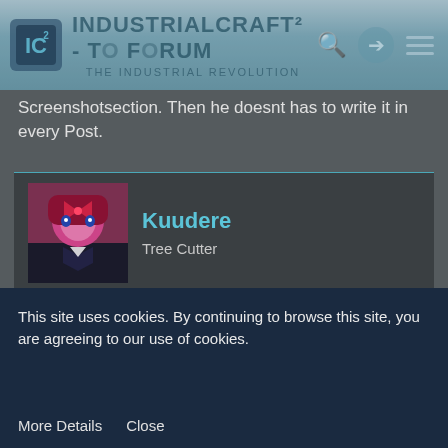IndustrialCraft² - The Forum – The Industrial Revolution
Screenshotsection. Then he doesnt has to write it in every Post.
Kuudere
Tree Cutter
Jul 22nd 2012
>More block IDs
Noooooope
This site uses cookies. By continuing to browse this site, you are agreeing to our use of cookies.
More Details   Close